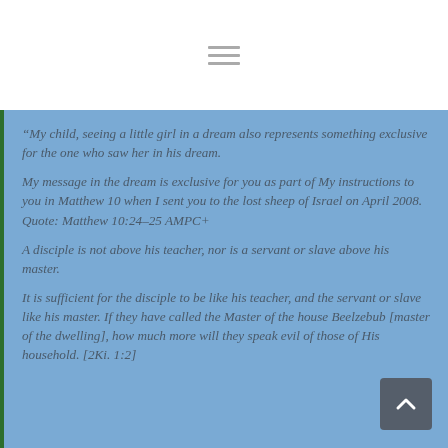“My child, seeing a little girl in a dream also represents something exclusive for the one who saw her in his dream.
My message in the dream is exclusive for you as part of My instructions to you in Matthew 10 when I sent you to the lost sheep of Israel on April 2008. Quote: Matthew 10:24–25 AMPC+
A disciple is not above his teacher, nor is a servant or slave above his master.
It is sufficient for the disciple to be like his teacher, and the servant or slave like his master. If they have called the Master of the house Beelzebub [master of the dwelling], how much more will they speak evil of those of His household. [2Ki. 1:2]